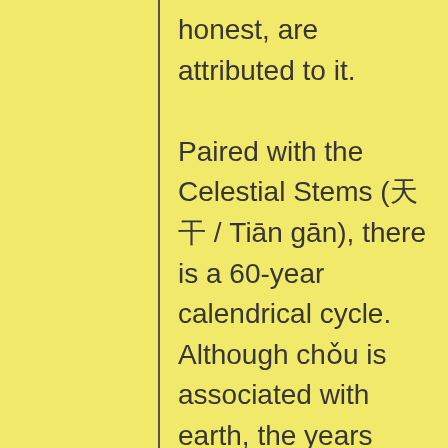honest, are attributed to it. Paired with the Celestial Stems (天干 / Tiān gān), there is a 60-year calendrical cycle. Although chǒu is associated with earth, the years